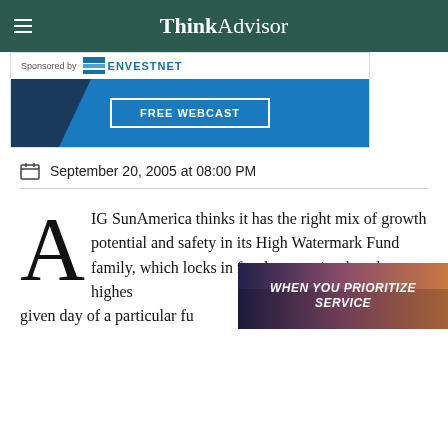ThinkAdvisor
[Figure (other): Sponsored by Envestnet advertisement banner with FREE WEBCAST button]
September 20, 2005 at 08:00 PM
AIG SunAmerica thinks it has the right mix of growth potential and safety in its High Watermark Fund family, which locks in for the maturity date the highest given day of a particular fund's individual
[Figure (other): WHEN YOU PRIORITIZE SERVICE overlay advertisement banner]